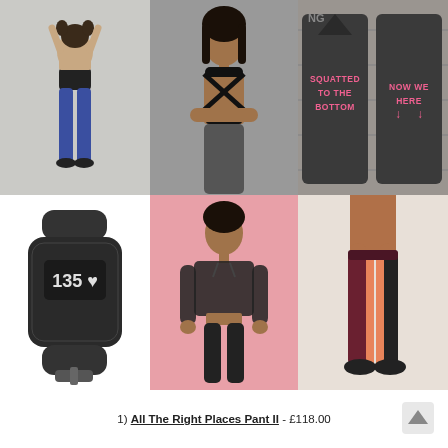[Figure (photo): Woman wearing blue high-waist leggings and black sports bra top, light grey background]
[Figure (photo): Woman wearing black strappy sports bra with crossed straps, standing with arms crossed, dark background]
[Figure (photo): Two dark grey burnout tank tops with pink text reading 'SQUATTED TO THE BOTTOM' and 'NOW WE HERE' with pink arrow graphics]
[Figure (photo): Black Fitbit Charge fitness tracker wristband displaying 135 and heart symbol on white background]
[Figure (photo): Woman wearing black mesh cropped hoodie and black leggings on pink background]
[Figure (photo): Woman wearing colorblock leggings in burgundy, black and orange/peach with black sneakers]
1) All The Right Places Pant II - £118.00